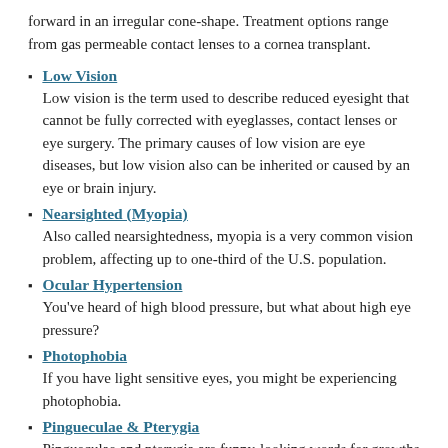forward in an irregular cone-shape. Treatment options range from gas permeable contact lenses to a cornea transplant.
Low Vision
Low vision is the term used to describe reduced eyesight that cannot be fully corrected with eyeglasses, contact lenses or eye surgery. The primary causes of low vision are eye diseases, but low vision also can be inherited or caused by an eye or brain injury.
Nearsighted (Myopia)
Also called nearsightedness, myopia is a very common vision problem, affecting up to one-third of the U.S. population.
Ocular Hypertension
You've heard of high blood pressure, but what about high eye pressure?
Photophobia
If you have light sensitive eyes, you might be experiencing photophobia.
Pingueculae & Pterygia
Pingueculae and pterygia are funny-looking words for growths on the surface of your eye.